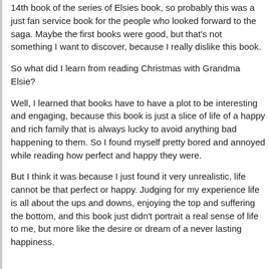14th book of the series of Elsies book, so probably this was a just fan service book for the people who looked forward to the saga. Maybe the first books were good, but that's not something I want to discover, because I really dislike this book.
So what did I learn from reading Christmas with Grandma Elsie?
Well, I learned that books have to have a plot to be interesting and engaging, because this book is just a slice of life of a happy and rich family that is always lucky to avoid anything bad happening to them. So I found myself pretty bored and annoyed while reading how perfect and happy they were.
But I think it was because I just found it very unrealistic, life cannot be that perfect or happy. Judging for my experience life is all about the ups and downs, enjoying the top and suffering the bottom, and this book just didn't portrait a real sense of life to me, but more like the desire or dream of a never lasting happiness.